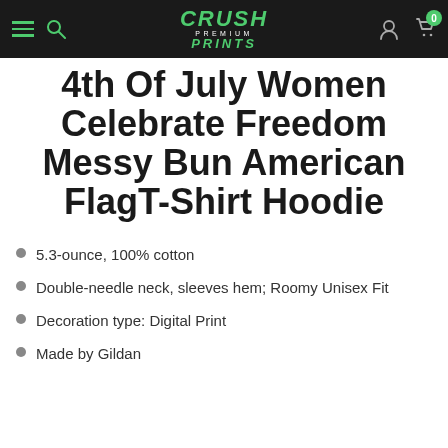Crush Premium Prints
4th Of July Women Celebrate Freedom Messy Bun American FlagT-Shirt Hoodie
5.3-ounce, 100% cotton
Double-needle neck, sleeves hem; Roomy Unisex Fit
Decoration type: Digital Print
Made by Gildan